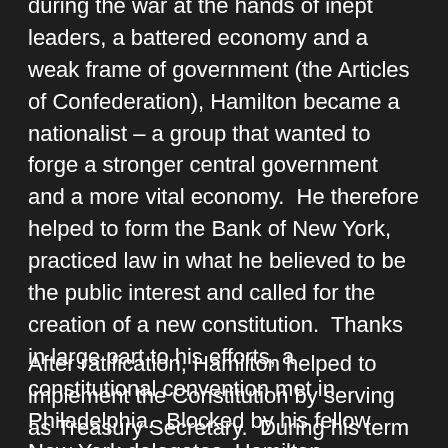during the war at the hands of inept leaders, a battered economy and a weak frame of government (the Articles of Confederation), Hamilton became a nationalist – a group that wanted to forge a stronger central government and a more vital economy.  He therefore helped to form the Bank of New York, practiced law in what he believed to be the public interest and called for the creation of a new constitution.  Thanks in large part to his efforts, a constitutional convention met in Philadelphia.  Blocked by his fellow New York delegates, Hamilton contributed little to the final document, but as one of the authors of The Federalist Papers he helped to ensure its ratification.
After ratification, Hamilton helped to implement the Constitution by serving as Treasury Secretary.  During his term in office, Hamilton essentially restored the national government's credit, created an efficient tariff-based